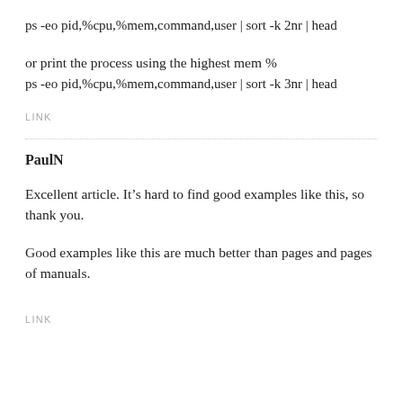ps -eo pid,%cpu,%mem,command,user | sort -k 2nr | head
or print the process using the highest mem %
ps -eo pid,%cpu,%mem,command,user | sort -k 3nr | head
LINK
PaulN
Excellent article. It’s hard to find good examples like this, so thank you.
Good examples like this are much better than pages and pages of manuals.
LINK